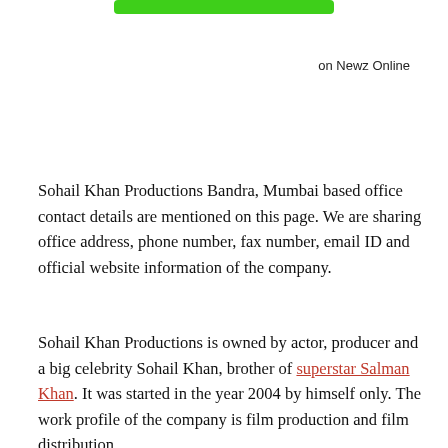[Figure (other): Green rounded rectangle button/bar at top center]
on Newz Online
Sohail Khan Productions Bandra, Mumbai based office contact details are mentioned on this page. We are sharing office address, phone number, fax number, email ID and official website information of the company.
Sohail Khan Productions is owned by actor, producer and a big celebrity Sohail Khan, brother of superstar Salman Khan. It was started in the year 2004 by himself only. The work profile of the company is film production and film distribution.